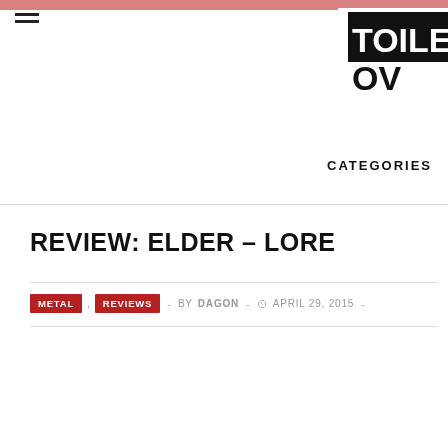CATEGORIES
[Figure (logo): Toilet Ov Hell logo, black text on white, partially cropped at right edge]
REVIEW: ELDER – LORE
METAL , REVIEWS – BY DAGON – APRIL 29, 2015 –